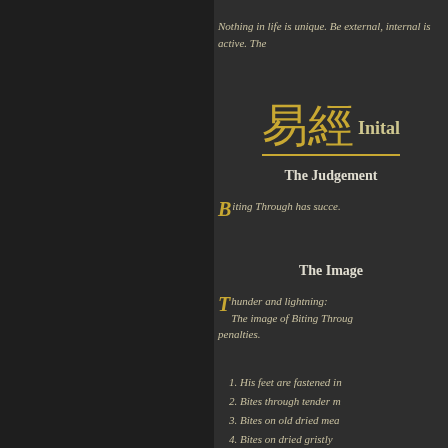Nothing in life is unique. Be external, internal is active. The
[Figure (illustration): Chinese characters 易經 with the word 'Inital' in bold beside them, underlined in gold]
The Judgement
Biting Through has succe.
The Image
Thunder and lightning: The image of Biting Through penalties.
His feet are fastened in
Bites through tender m
Bites on old dried mea
Bites on dried gristly